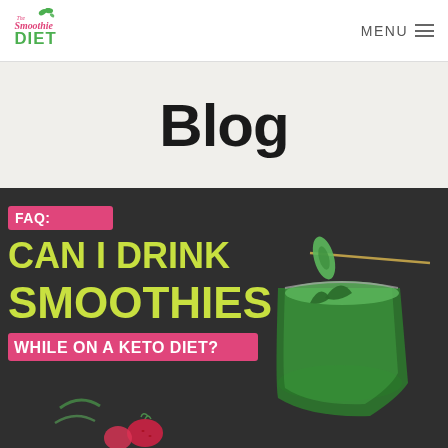The Smoothie Diet — MENU
Blog
[Figure (photo): Promotional blog image with text overlay on dark background showing a green smoothie in a glass garnished with cucumber. Text reads: FAQ: CAN I DRINK SMOOTHIES WHILE ON A KETO DIET?]